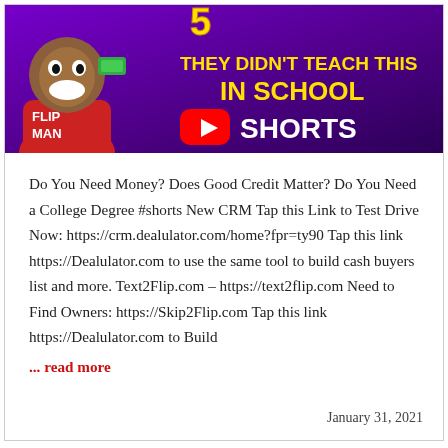[Figure (screenshot): YouTube Shorts thumbnail with purple background. Cartoon character 'Flip Man' in red shirt on the left holding money. Yellow and white bold text reading 'THEY DIDN'T TEACH THIS IN SCHOOL' with YouTube Shorts logo and 'SHORTS' text on the right.]
Do You Need Money? Does Good Credit Matter? Do You Need a College Degree #shorts New CRM Tap this Link to Test Drive Now: https://crm.dealulator.com/home?fpr=ty90 Tap this link https://Dealulator.com to use the same tool to build cash buyers list and more. Text2Flip.com – https://text2flip.com Need to Find Owners: https://Skip2Flip.com Tap this link https://Dealulator.com to Build
... read more
January 31, 2021